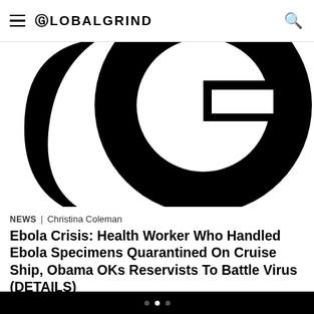GLOBALGRIND
[Figure (logo): Large black GlobalGrind 'G' logo on white background, partial view of the circular G mark]
NEWS | Christina Coleman
Ebola Crisis: Health Worker Who Handled Ebola Specimens Quarantined On Cruise Ship, Obama OKs Reservists To Battle Virus (DETAILS)
A Texas Health Presbyterian Hospital health worker has been